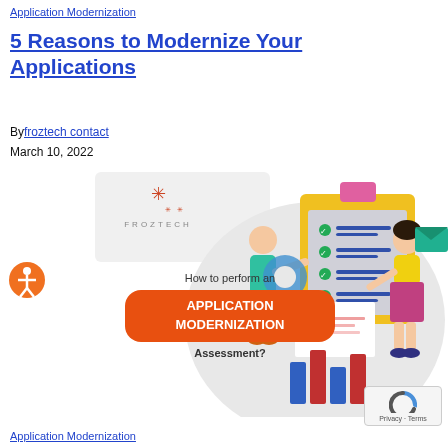Application Modernization
5 Reasons to Modernize Your Applications
By froztech contact
March 10, 2022
[Figure (illustration): Illustration showing 'How to perform an APPLICATION MODERNIZATION Assessment?' with Froztech logo, two 3D figures with a clipboard checklist and bar charts on a grey circular background.]
Application Modernization